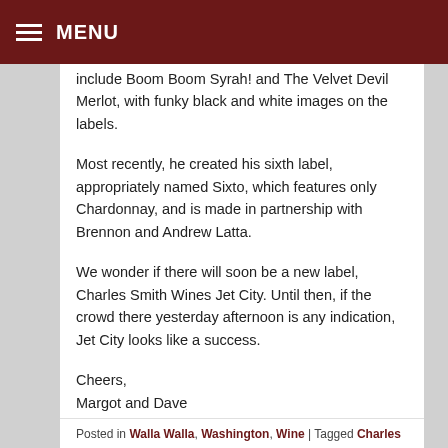MENU
include Boom Boom Syrah! and The Velvet Devil Merlot, with funky black and white images on the labels.
Most recently, he created his sixth label, appropriately named Sixto, which features only Chardonnay, and is made in partnership with Brennon and Andrew Latta.
We wonder if there will soon be a new label, Charles Smith Wines Jet City. Until then, if the crowd there yesterday afternoon is any indication, Jet City looks like a success.
Cheers,
Margot and Dave
Posted in Walla Walla, Washington, Wine | Tagged Charles